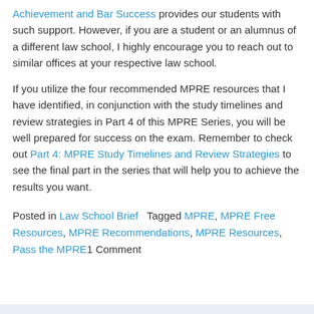Achievement and Bar Success provides our students with such support. However, if you are a student or an alumnus of a different law school, I highly encourage you to reach out to similar offices at your respective law school.
If you utilize the four recommended MPRE resources that I have identified, in conjunction with the study timelines and review strategies in Part 4 of this MPRE Series, you will be well prepared for success on the exam. Remember to check out Part 4: MPRE Study Timelines and Review Strategies to see the final part in the series that will help you to achieve the results you want.
Posted in Law School Brief   Tagged MPRE, MPRE Free Resources, MPRE Recommendations, MPRE Resources, Pass the MPRE1 Comment